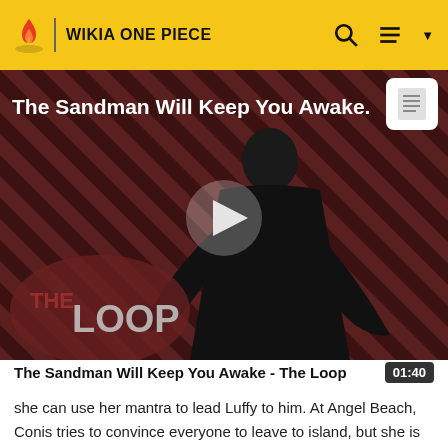WIKIA ONE PIECE
[Figure (screenshot): Video thumbnail showing a dark-cloaked figure against a red and black diagonal stripe background with 'THE LOOP' watermark and a play button overlay. Title reads 'The Sandman Will Keep You Awake.']
The Sandman Will Keep You Awake - The Loop
she can use her mantra to lead Luffy to him. At Angel Beach, Conis tries to convince everyone to leave to island, but she is labelled a heretic. To prove her point, she loudly yells that she does not consider Enel as God and